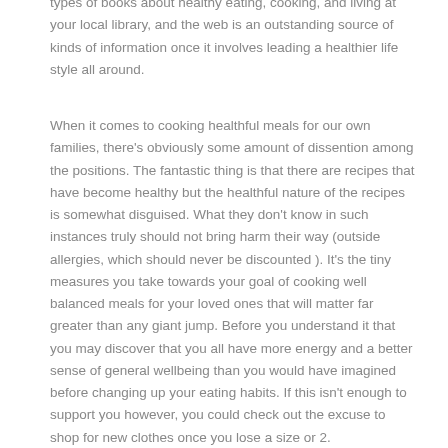types of books about healthy eating, cooking, and living at your local library, and the web is an outstanding source of kinds of information once it involves leading a healthier life style all around.
When it comes to cooking healthful meals for our own families, there's obviously some amount of dissention among the positions. The fantastic thing is that there are recipes that have become healthy but the healthful nature of the recipes is somewhat disguised. What they don't know in such instances truly should not bring harm their way (outside allergies, which should never be discounted ). It's the tiny measures you take towards your goal of cooking well balanced meals for your loved ones that will matter far greater than any giant jump. Before you understand it that you may discover that you all have more energy and a better sense of general wellbeing than you would have imagined before changing up your eating habits. If this isn't enough to support you however, you could check out the excuse to shop for new clothes once you lose a size or 2.